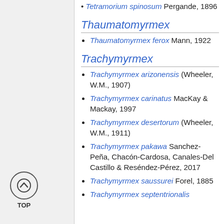Tetramorium spinosum Pergande, 1896
Thaumatomyrmex
Thaumatomyrmex ferox Mann, 1922
Trachymyrmex
Trachymyrmex arizonensis (Wheeler, W.M., 1907)
Trachymyrmex carinatus MacKay & Mackay, 1997
Trachymyrmex desertorum (Wheeler, W.M., 1911)
Trachymyrmex pakawa Sanchez-Peña, Chacón-Cardosa, Canales-Del Castillo & Reséndez-Pérez, 2017
Trachymyrmex saussurei Forel, 1885
Trachymyrmex septentrionalis